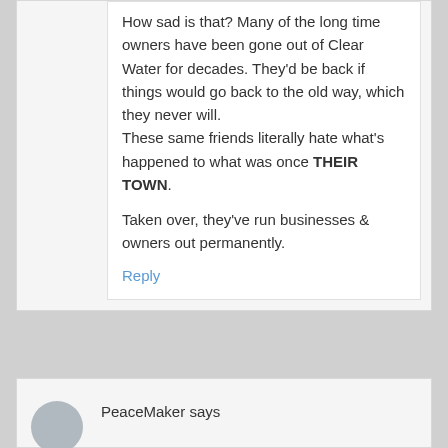How sad is that? Many of the long time owners have been gone out of Clear Water for decades. They'd be back if things would go back to the old way, which they never will. These same friends literally hate what's happened to what was once THEIR TOWN.

Taken over, they've run businesses & owners out permanently.
Reply
PeaceMaker says